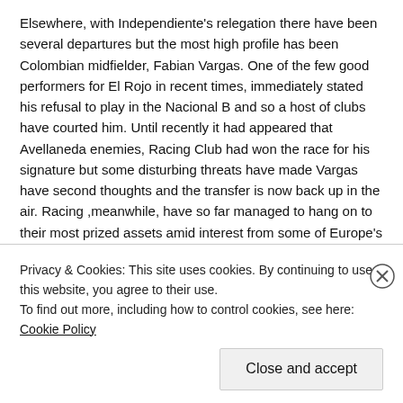Elsewhere, with Independiente's relegation there have been several departures but the most high profile has been Colombian midfielder, Fabian Vargas. One of the few good performers for El Rojo in recent times, immediately stated his refusal to play in the Nacional B and so a host of clubs have courted him. Until recently it had appeared that Avellaneda enemies, Racing Club had won the race for his signature but some disturbing threats have made Vargas have second thoughts and the transfer is now back up in the air. Racing ,meanwhile, have so far managed to hang on to their most prized assets amid interest from some of Europe's big spenders.
The only other big stories have been Lisandro Lopez's transfer to Benfica, possibly to replace fellow Argentine, Ezequiel Garay? Arsenal's loss even more significant, taking into account the loss of Dario Benedetto, Jorge Ortiz and
Privacy & Cookies: This site uses cookies. By continuing to use this website, you agree to their use.
To find out more, including how to control cookies, see here: Cookie Policy
Close and accept